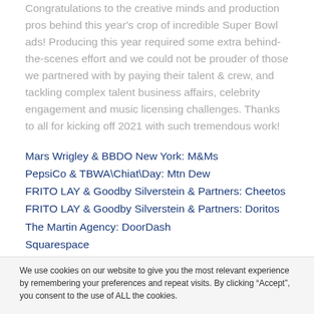Congratulations to the creative minds and production pros behind this year's crop of incredible Super Bowl ads! Producing this year required some extra behind-the-scenes effort and we could not be prouder of those we partnered with by paying their talent & crew, and tackling complex talent business affairs, celebrity engagement and music licensing challenges. Thanks to all for kicking off 2021 with such tremendous work!
Mars Wrigley & BBDO New York: M&Ms
PepsiCo & TBWA\Chiat\Day: Mtn Dew
FRITO LAY & Goodby Silverstein & Partners: Cheetos
FRITO LAY & Goodby Silverstein & Partners: Doritos
The Martin Agency: DoorDash
Squarespace
Marcus Thomas LLC: Dexcom
We use cookies on our website to give you the most relevant experience by remembering your preferences and repeat visits. By clicking “Accept”, you consent to the use of ALL the cookies.